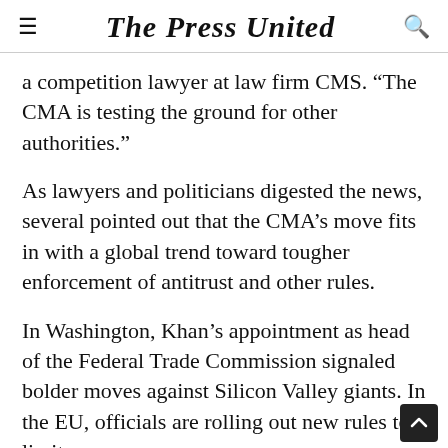The Press United
a competition lawyer at law firm CMS. “The CMA is testing the ground for other authorities.”
As lawyers and politicians digested the news, several pointed out that the CMA’s move fits in with a global trend toward tougher enforcement of antitrust and other rules.
In Washington, Khan’s appointment as head of the Federal Trade Commission signaled bolder moves against Silicon Valley giants. In the EU, officials are rolling out new rules to limit